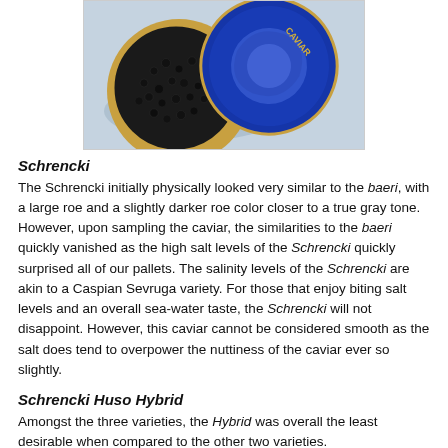[Figure (photo): A tin of caviar open showing black roe, with a decorative blue lid with Caviar text alongside it, on a light blue background.]
Schrencki
The Schrencki initially physically looked very similar to the baeri, with a large roe and a slightly darker roe color closer to a true gray tone. However, upon sampling the caviar, the similarities to the baeri quickly vanished as the high salt levels of the Schrencki quickly surprised all of our pallets. The salinity levels of the Schrencki are akin to a Caspian Sevruga variety. For those that enjoy biting salt levels and an overall sea-water taste, the Schrencki will not disappoint. However, this caviar cannot be considered smooth as the salt does tend to overpower the nuttiness of the caviar ever so slightly.
Schrencki Huso Hybrid
Amongst the three varieties, the Hybrid was overall the least desirable when compared to the other two varieties.